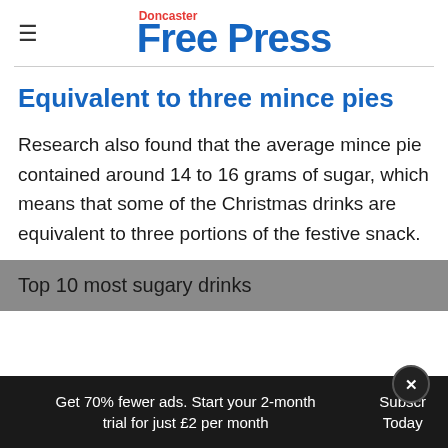Doncaster Free Press
Equivalent to three mince pies
Research also found that the average mince pie contained around 14 to 16 grams of sugar, which means that some of the Christmas drinks are equivalent to three portions of the festive snack.
Top 10 most sugary drinks
Get 70% fewer ads. Start your 2-month trial for just £2 per month
Subscribe Today